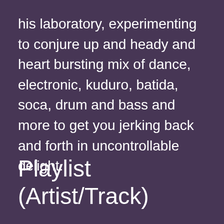his laboratory, experimenting to conjure up and heady and heart bursting mix of dance, electronic, kuduro, batida, soca, drum and bass and more to get you jerking back and forth in uncontrollable delight.
Playlist (Artist/Track)